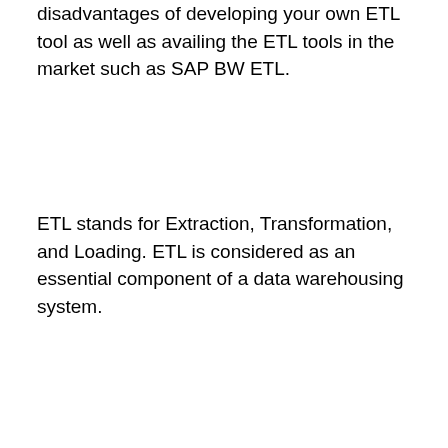disadvantages of developing your own ETL tool as well as availing the ETL tools in the market such as SAP BW ETL.
ETL stands for Extraction, Transformation, and Loading. ETL is considered as an essential component of a data warehousing system.